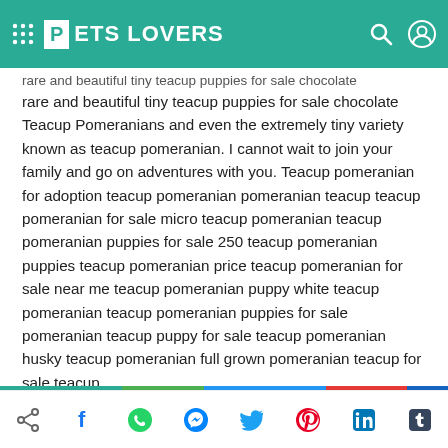PETS LOVERS
rare and beautiful tiny teacup puppies for sale chocolate Teacup Pomeranians and even the extremely tiny variety known as teacup pomeranian. I cannot wait to join your family and go on adventures with you. Teacup pomeranian for adoption teacup pomeranian pomeranian teacup teacup pomeranian for sale micro teacup pomeranian teacup pomeranian puppies for sale 250 teacup pomeranian puppies teacup pomeranian price teacup pomeranian for sale near me teacup pomeranian puppy white teacup pomeranian teacup pomeranian puppies for sale pomeranian teacup puppy for sale teacup pomeranian husky teacup pomeranian full grown pomeranian teacup for sale teacup.